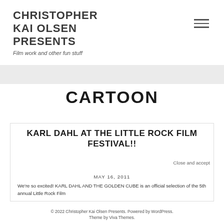CHRISTOPHER KAI OLSEN PRESENTS
Film work and other fun stuff
CARTOON
KARL DAHL AT THE LITTLE ROCK FILM FESTIVAL!!
MAY 16, 2011
We're so excited! KARL DAHL AND THE GOLDEN CUBE is an official selection of the 5th annual Little Rock Film
Privacy & Cookies: This site uses cookies. By continuing to use this website, you agree to their use. To find out more, including how to control cookies, see here: Cookie Policy
Close and accept
© 2022 Christopher Kai Olsen Presents. Powered by WordPress. Theme by Viva Themes.